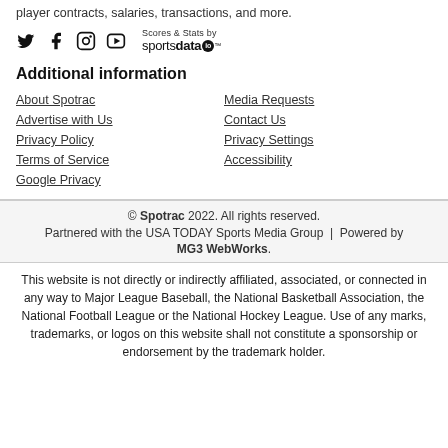player contracts, salaries, transactions, and more.
[Figure (logo): Social media icons (Twitter, Facebook, Instagram, YouTube) and Scores & Stats by sportsdataio logo]
Additional information
About Spotrac
Media Requests
Advertise with Us
Contact Us
Privacy Policy
Privacy Settings
Terms of Service
Accessibility
Google Privacy
© Spotrac 2022. All rights reserved. Partnered with the USA TODAY Sports Media Group | Powered by MG3 WebWorks.
This website is not directly or indirectly affiliated, associated, or connected in any way to Major League Baseball, the National Basketball Association, the National Football League or the National Hockey League. Use of any marks, trademarks, or logos on this website shall not constitute a sponsorship or endorsement by the trademark holder.